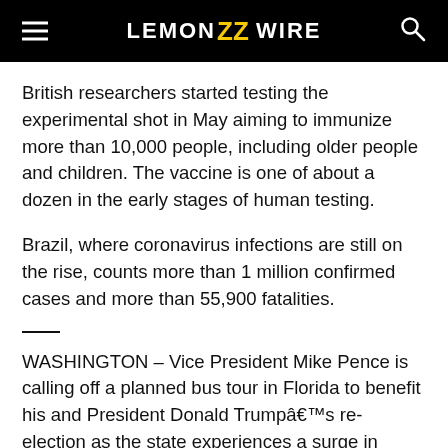LEMON ZZ WIRE
British researchers started testing the experimental shot in May aiming to immunize more than 10,000 people, including older people and children. The vaccine is one of about a dozen in the early stages of human testing.
Brazil, where coronavirus infections are still on the rise, counts more than 1 million confirmed cases and more than 55,900 fatalities.
WASHINGTON – Vice President Mike Pence is calling off a planned bus tour in Florida to benefit his and President Donald Trumpâs re-election as the state experiences a surge in confirmed coronavirus cases.